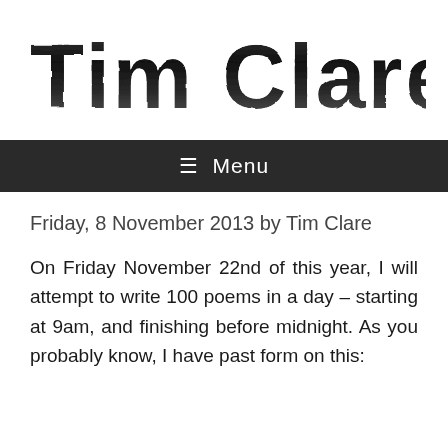[Figure (logo): Tim Clare blog logo — large distressed/grunge bold text reading 'Tim Clare' on white background]
≡ Menu
Friday, 8 November 2013 by Tim Clare
On Friday November 22nd of this year, I will attempt to write 100 poems in a day – starting at 9am, and finishing before midnight. As you probably know, I have past form on this: